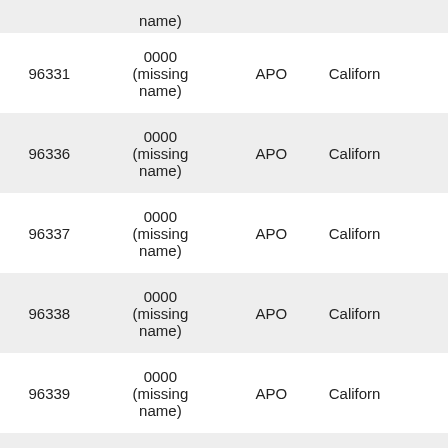| ZIP | Name | City | State |
| --- | --- | --- | --- |
| 96331 | 0000 (missing name) | APO | California |
| 96336 | 0000 (missing name) | APO | California |
| 96337 | 0000 (missing name) | APO | California |
| 96338 | 0000 (missing name) | APO | California |
| 96339 | 0000 (missing name) | APO | California |
| 96343 | 0000 (missing name) | APO | California |
| 96365 | 0000 (missing name) | APO | California |
| 96367 | 0000 (missing name) | APO | California |